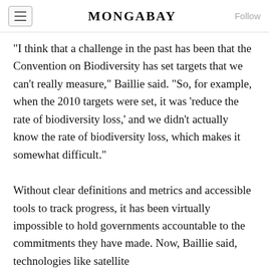MONGABAY
“I think that a challenge in the past has been that the Convention on Biodiversity has set targets that we can’t really measure,” Baillie said. “So, for example, when the 2010 targets were set, it was ‘reduce the rate of biodiversity loss,’ and we didn’t actually know the rate of biodiversity loss, which makes it somewhat difficult.”
Without clear definitions and metrics and accessible tools to track progress, it has been virtually impossible to hold governments accountable to the commitments they have made. Now, Baillie said, technologies like satellite